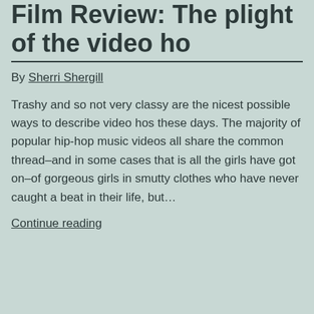Film Review: The plight of the video ho
By Sherri Shergill
Trashy and so not very classy are the nicest possible ways to describe video hos these days. The majority of popular hip-hop music videos all share the common thread–and in some cases that is all the girls have got on–of gorgeous girls in smutty clothes who have never caught a beat in their life, but…
Continue reading